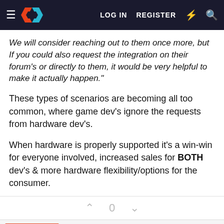LOG IN  REGISTER
We will consider reaching out to them once more, but If you could also request the integration on their forum's or directly to them, it would be very helpful to make it actually happen."
These types of scenarios are becoming all too common, where game dev's ignore the requests from hardware dev's.
When hardware is properly supported it's a win-win for everyone involved, increased sales for BOTH dev's & more hardware flexibility/options for the consumer.